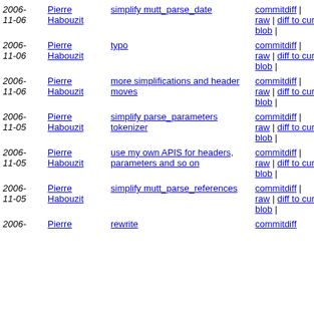| Date | Author | Commit | Links |
| --- | --- | --- | --- |
| 2006-11-06 | Pierre Habouzit | simplify mutt_parse_date | blob | commitdiff | raw | diff to current |
| 2006-11-06 | Pierre Habouzit | typo | blob | commitdiff | raw | diff to current |
| 2006-11-06 | Pierre Habouzit | more simplifications and header moves | blob | commitdiff | raw | diff to current |
| 2006-11-05 | Pierre Habouzit | simplify parse_parameters tokenizer | blob | commitdiff | raw | diff to current |
| 2006-11-05 | Pierre Habouzit | use my own APIS for headers, parameters and so on | blob | commitdiff | raw | diff to current |
| 2006-11-05 | Pierre Habouzit | simplify mutt_parse_references | blob | commitdiff | raw | diff to current |
| 2006-11-05 | Pierre Habouzit | rewrite | blob | commitdiff | ... |